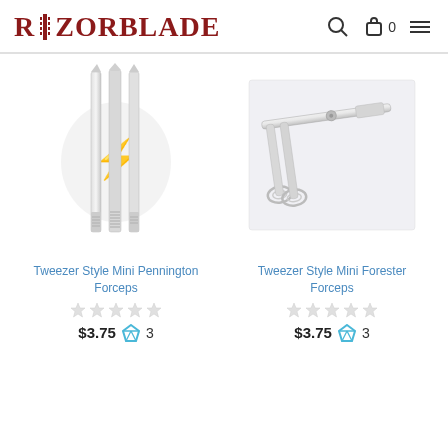RAZORBLADE
[Figure (photo): Tweezer style mini Pennington forceps - silver metal tweezers shown vertically]
[Figure (photo): Tweezer style mini Forester forceps - elongated silver medical instrument with loop ends]
Tweezer Style Mini Pennington Forceps
Tweezer Style Mini Forester Forceps
$3.75 💎 3
$3.75 💎 3